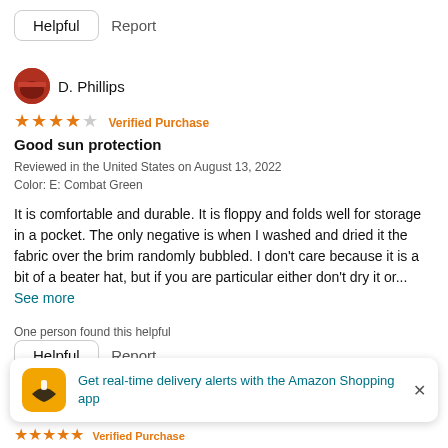Helpful   Report
D. Phillips
★★★★☆ Verified Purchase
Good sun protection
Reviewed in the United States on August 13, 2022
Color: E: Combat Green
It is comfortable and durable. It is floppy and folds well for storage in a pocket. The only negative is when I washed and dried it the fabric over the brim randomly bubbled. I don't care because it is a bit of a beater hat, but if you are particular either don't dry it or...  See more
One person found this helpful
Helpful   Report
Get real-time delivery alerts with the Amazon Shopping app
★★★★★ Verified Purchase